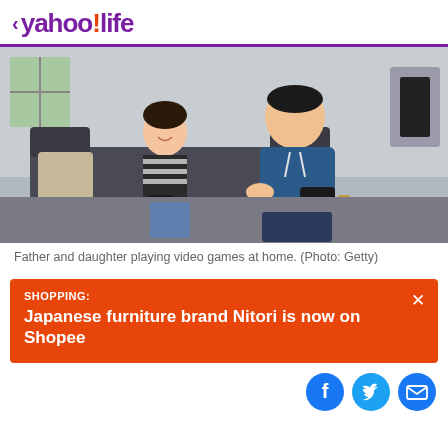< yahoo!life
[Figure (photo): Father and daughter sitting on a couch playing video games with controllers]
Father and daughter playing video games at home. (Photo: Getty)
SHOPPING:
Japanese furniture brand Nitori is now on Shopee
[Figure (infographic): Social sharing icons: Facebook, Twitter, Email]